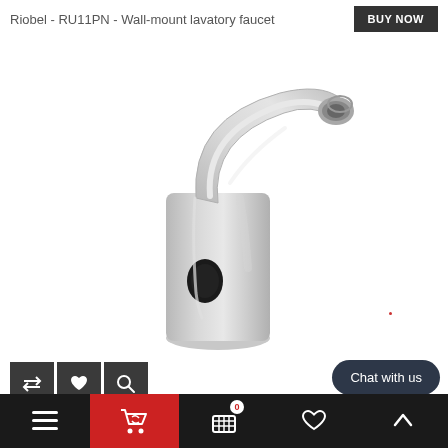Riobel - RU11PN - Wall-mount lavatory faucet
[Figure (photo): Close-up photo of a chrome wall-mount lavatory faucet (Riobel RU11PN) with a curved spout, aerator tip, and a dark sensor oval on the front face]
[Figure (screenshot): Three dark square icon buttons: compare (double arrows), wishlist (heart), and search (magnifying glass)]
[Figure (screenshot): Dark rounded pill 'Chat with us' button on the right side]
Bottom navigation bar with hamburger menu, red cart icon, bag/basket icon with badge 0, heart icon, and up-arrow icon